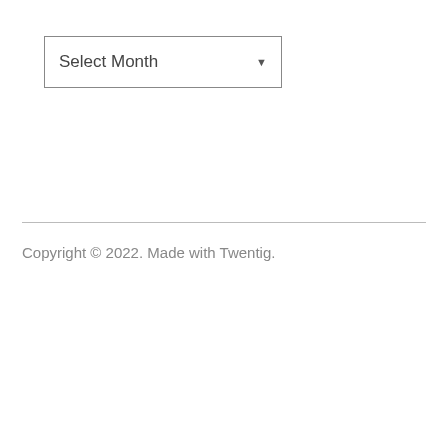[Figure (screenshot): A dropdown/select widget labeled 'Select Month' with a downward-pointing arrow indicator on the right side, enclosed in a rectangular border.]
Copyright © 2022. Made with Twentig.